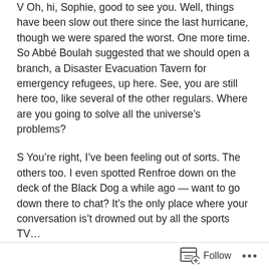V Oh, hi, Sophie, good to see you. Well, things have been slow out there since the last hurricane, though we were spared the worst. One more time. So Abbé Boulah suggested that we should open a branch, a Disaster Evacuation Tavern for emergency refugees, up here. See, you are still here too, like several of the other regulars. Where are you going to solve all the universe's problems?
S You're right, I've been feeling out of sorts. The others too. I even spotted Renfroe down on the deck of the Black Dog a while ago — want to go down there to chat? It's the only place where your conversation is't drowned out by all the sports TV...
V Okay; even though they don't have any Zinfandel there
Follow